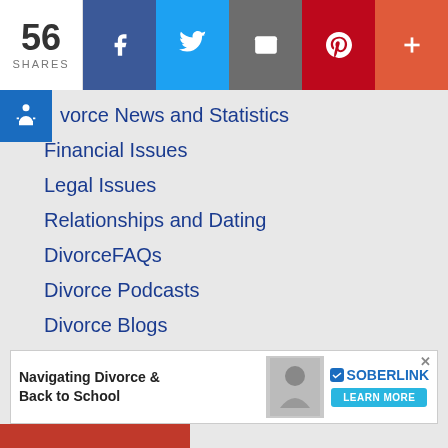56 SHARES — Facebook, Twitter, Email, Pinterest, More
Divorce News and Statistics
Financial Issues
Legal Issues
Relationships and Dating
DivorceFAQs
Divorce Podcasts
Divorce Blogs
[Figure (logo): CBS News, The New York Times, and New Jersey Herald logos]
[Figure (infographic): Advertisement banner: Navigating Divorce & Back to School — Soberlink, LEARN MORE button]